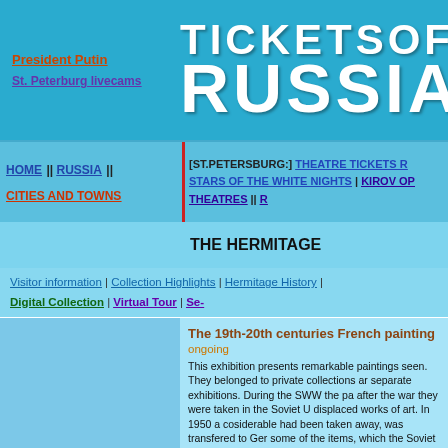TicketsOfRussia — header logo with President Putin and St. Peterburg livecams links
HOME || RUSSIA || CITIES AND TOWNS | [ST.PETERSBURG:] THEATRE TICKETS | STARS OF THE WHITE NIGHTS | KIROV OP... THEATRES || R...
THE HERMITAGE
Visitor information | Collection Highlights | Hermitage History | Digital Collection | Virtual Tour | Se...
The 19th-20th centuries French painting
ongoing
This exhibition presents remarkable paintings seen. They belonged to private collections ar separate exhibitions. During the SWW the pa after the war they were taken in the Soviet U displaced works of art. In 1950 a cosiderable had been taken away, was transfered to Ger some of the items, which the Soviet state left museum repositories. The museum was due perfect condition and this has been done, bu were forbidden. Due to the changes in Russi help of The Ministry of Culture of Russia ha